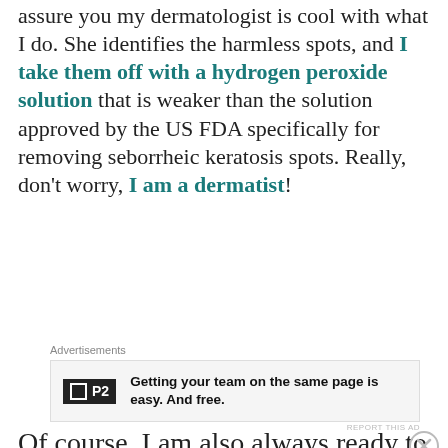assure you my dermatologist is cool with what I do. She identifies the harmless spots, and I take them off with a hydrogen peroxide solution that is weaker than the solution approved by the US FDA specifically for removing seborrheic keratosis spots. Really, don't worry, I am a dermatist!
Advertisements
[Figure (other): Advertisement for P2 product: Getting your team on the same page is easy. And free.]
Of course, I am also always ready to
Advertisements
[Figure (other): Advertisement: Launch your online course with WordPress. Learn More.]